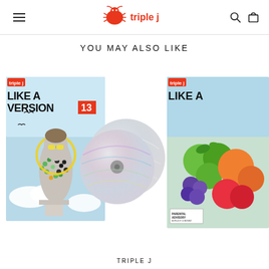triple j header with navigation menu, search, and cart icons
YOU MAY ALSO LIKE
[Figure (photo): Like A Version 13 double CD album cover with a classical statue bust decorated with colorful mosaic pattern, surrounded by two silver CDs]
[Figure (photo): Like A Version album cover partially visible, showing colorful fruit imagery on a light blue background with a parental advisory sticker]
TRIPLE J